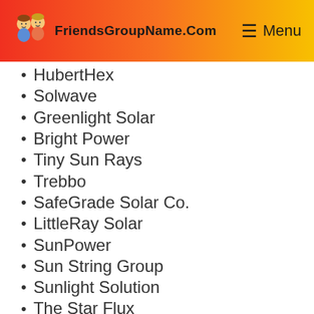FriendsGroupName.Com | Menu
HubertHex
Solwave
Greenlight Solar
Bright Power
Tiny Sun Rays
Trebbo
SafeGrade Solar Co.
LittleRay Solar
SunPower
Sun String Group
Sunlight Solution
The Star Flux
Majestic May
Sun Spark
Greenlight Ideas
Vital Yellow Light